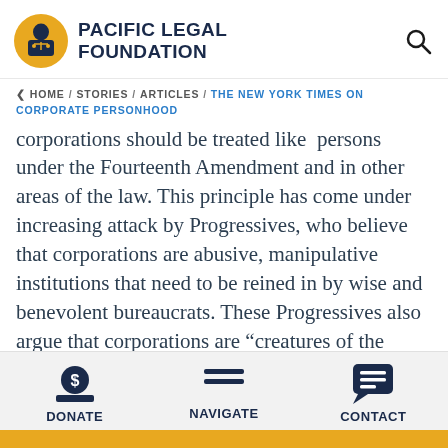[Figure (logo): Pacific Legal Foundation logo: circular emblem with yellow/gold background showing a figure at a desk, next to bold dark blue text reading PACIFIC LEGAL FOUNDATION]
PACIFIC LEGAL FOUNDATION
< HOME / STORIES / ARTICLES / THE NEW YORK TIMES ON CORPORATE PERSONHOOD
corporations should be treated like "persons" under the Fourteenth Amendment and in other areas of the law. This principle has come under increasing attack by Progressives, who believe that corporations are abusive, manipulative institutions that need to be reined in by wise and benevolent bureaucrats. These Progressives also argue that corporations are "creatures of the state"
DONATE   NAVIGATE   CONTACT